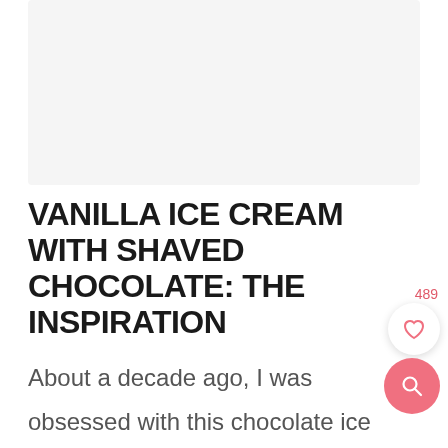[Figure (photo): Light gray placeholder image area at the top of the page]
VANILLA ICE CREAM WITH SHAVED CHOCOLATE: THE INSPIRATION
About a decade ago, I was obsessed with this chocolate ice cream I could get at our local grocery store.  It was